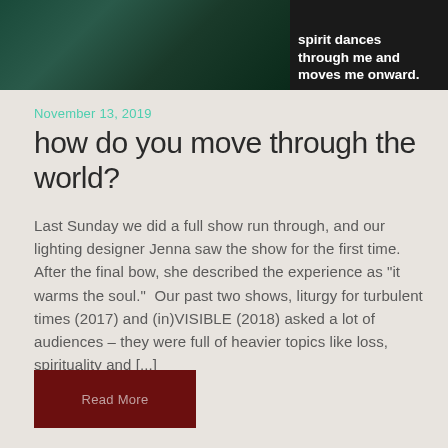[Figure (photo): Top strip with two image panels: left panel shows a dark green/teal background with a partial human figure, right panel shows dark background with white bold text reading 'spirit dances through me and moves me onward.']
November 13, 2019
how do you move through the world?
Last Sunday we did a full show run through, and our lighting designer Jenna saw the show for the first time. After the final bow, she described the experience as "it warms the soul."  Our past two shows, liturgy for turbulent times (2017) and (in)VISIBLE (2018) asked a lot of audiences – they were full of heavier topics like loss, spirituality and [...]
Read More